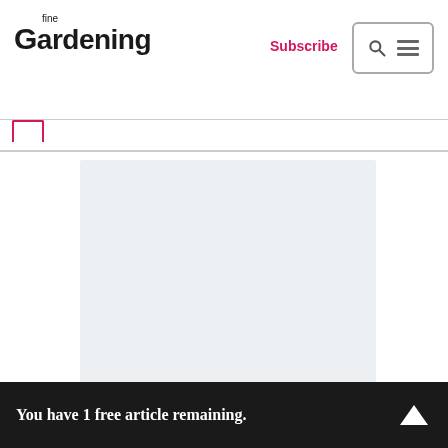fine Gardening — Subscribe — Search/Menu navigation
[Figure (screenshot): Advertisement placeholder — light gray rectangle]
You have 1 free article remaining.